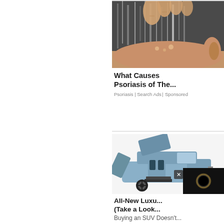[Figure (photo): Close-up photograph of a person's scalp with gray hair, fingers touching the back of the head near the ear, showing scalp condition]
What Causes Psoriasis of The...
Psoriasis | Search Ads | Sponsored
[Figure (photo): Luxury SUV with doors and roof open/extended, showing an elaborate multi-door design with steps, in silver/blue color, displayed on white background]
All-New Luxu... (Take a Look... Buying an SUV Doesn't...
[Figure (photo): Small dark overlay thumbnail showing a solar eclipse image]